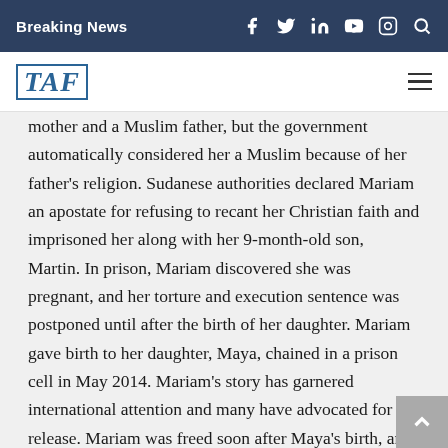Breaking News
[Figure (logo): TAF logo in blue serif italic font with border]
mother and a Muslim father, but the government automatically considered her a Muslim because of her father's religion. Sudanese authorities declared Mariam an apostate for refusing to recant her Christian faith and imprisoned her along with her 9-month-old son, Martin. In prison, Mariam discovered she was pregnant, and her torture and execution sentence was postponed until after the birth of her daughter. Mariam gave birth to her daughter, Maya, chained in a prison cell in May 2014. Mariam's story has garnered international attention and many have advocated for her release. Mariam was freed soon after Maya's birth, and she eventually moved to the